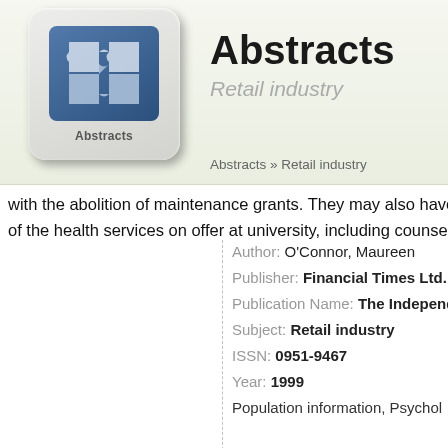Abstracts — Retail industry
Abstracts » Retail industry
with the abolition of maintenance grants. They may also have health
of the health services on offer at university, including counselling for
Author: O'Connor, Maureen
Publisher: Financial Times Ltd.
Publication Name: The Independent
Subject: Retail industry
ISSN: 0951-9467
Year: 1999
Population information, Psychologi